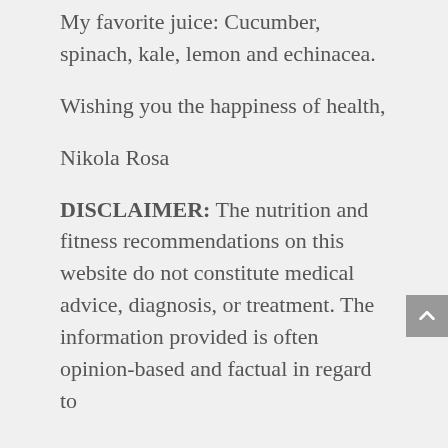My favorite juice: Cucumber, spinach, kale, lemon and echinacea.
Wishing you the happiness of health,
Nikola Rosa
DISCLAIMER: The nutrition and fitness recommendations on this website do not constitute medical advice, diagnosis, or treatment. The information provided is often opinion-based and factual in regard to